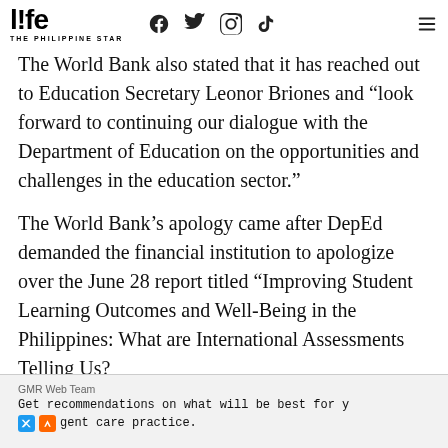life THE PHILIPPINE STAR — with social icons: Facebook, Twitter, Instagram, TikTok, Menu
The World Bank also stated that it has reached out to Education Secretary Leonor Briones and “look forward to continuing our dialogue with the Department of Education on the opportunities and challenges in the education sector.”
The World Bank’s apology came after DepEd demanded the financial institution to apologize over the June 28 report titled “Improving Student Learning Outcomes and Well-Being in the Philippines: What are International Assessments Telling Us?
[Figure (other): Scroll/menu indicator icon — three horizontal lines]
GMR Web Team
Get recommendations on what will be best for y
gent care practice.